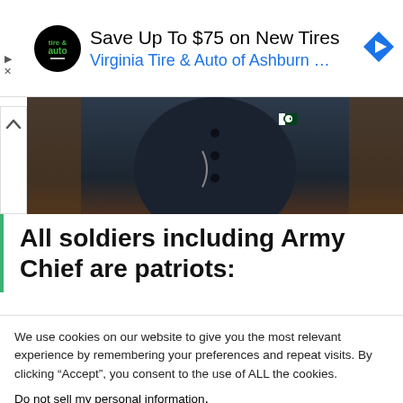[Figure (infographic): Advertisement banner: Virginia Tire & Auto logo (circular black with green text), headline 'Save Up To $75 on New Tires', subtext 'Virginia Tire & Auto of Ashburn …', blue navigation arrow icon on right. Play and X controls on far left.]
[Figure (photo): Partial photo of a person wearing a dark navy jacket with what appears to be a Pakistani flag pin, holding something. Brown background visible.]
All soldiers including Army Chief are patriots:
We use cookies on our website to give you the most relevant experience by remembering your preferences and repeat visits. By clicking “Accept”, you consent to the use of ALL the cookies.
Do not sell my personal information.
Cookie Settings  Accept